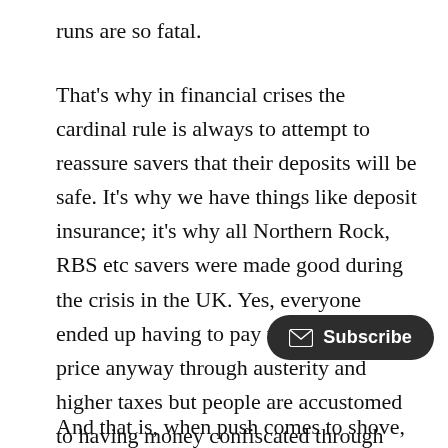runs are so fatal.
That's why in financial crises the cardinal rule is always to attempt to reassure savers that their deposits will be safe. It's why we have things like deposit insurance; it's why all Northern Rock, RBS etc savers were made good during the crisis in the UK. Yes, everyone ended up having to pay the eventual price anyway through austerity and higher taxes but people are accustomed to having money confiscated through income and consumption taxes: their savings, on the other hand, are considered inviolable
And that is, when push comes to shove, the